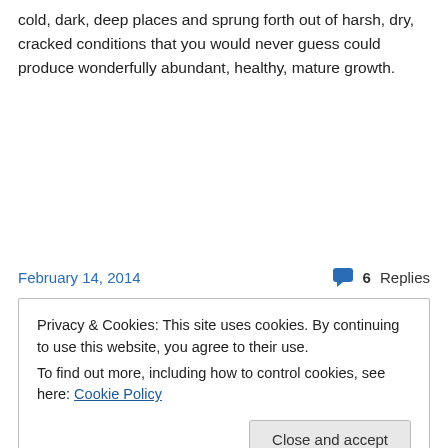cold, dark, deep places and sprung forth out of harsh, dry, cracked conditions that you would never guess could produce wonderfully abundant, healthy, mature growth.
February 14, 2014
6 Replies
Privacy & Cookies: This site uses cookies. By continuing to use this website, you agree to their use.
To find out more, including how to control cookies, see here: Cookie Policy
Close and accept